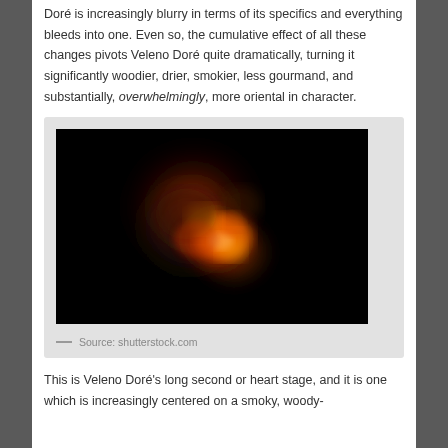Doré is increasingly blurry in terms of its specifics and everything bleeds into one. Even so, the cumulative effect of all these changes pivots Veleno Doré quite dramatically, turning it significantly woodier, drier, smokier, less gourmand, and substantially, overwhelmingly, more oriental in character.
[Figure (photo): A dark photograph showing a glowing orange and red sphere or cloud against a black background, resembling a nebula or burning ember.]
— Source: shutterstock.com
This is Veleno Doré's long second or heart stage, and it is one which is increasingly centered on a smoky, woody-